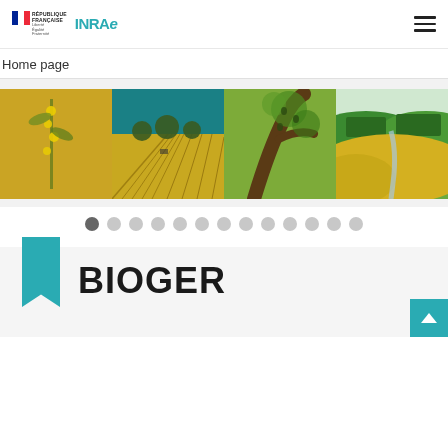[Figure (logo): République Française and INRAE logos with hamburger menu icon on the right]
Home page
[Figure (photo): Carousel of four agricultural/nature photos: rapeseed plant close-up, aerial view of yellow field with tractor tracks, tree branch with green foliage, rolling green and yellow hills landscape]
[Figure (infographic): Carousel navigation dots - 13 dots total, first one darker (active)]
BIOGER